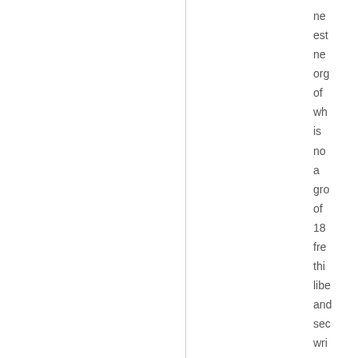new
est
new
org
of
wh
is
now
a
gro
of
18
fre
thin
libe
and
sec
wri
see
for
a
jus
and
sec